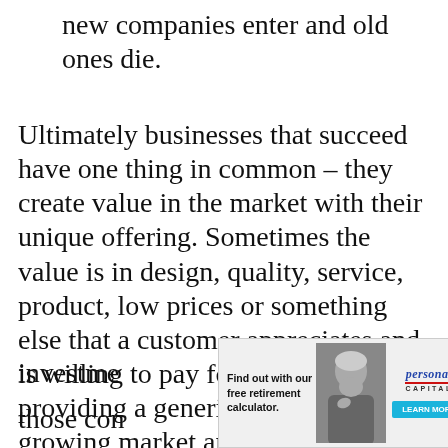new companies enter and old ones die.
Ultimately businesses that succeed have one thing in common – they create value in the market with their unique offering. Sometimes the value is in design, quality, service, product, low prices or something else that a customer appreciates and is willing to pay for. Companies providing a generic product in a growing market are not good investme[nt...] [whet]her are those con[sidering...] re the
[Figure (advertisement): Personal Capital advertisement overlay with photo of older person, text 'Find out with our free retirement calculator.' and Personal Capital logo with blue call-to-action button, close X button in top right.]